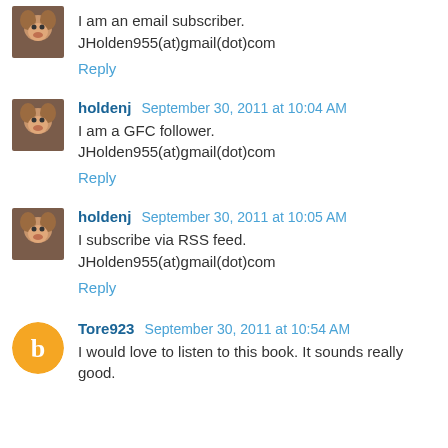I am an email subscriber.
JHolden955(at)gmail(dot)com
Reply
holdenj  September 30, 2011 at 10:04 AM
I am a GFC follower.
JHolden955(at)gmail(dot)com
Reply
holdenj  September 30, 2011 at 10:05 AM
I subscribe via RSS feed.
JHolden955(at)gmail(dot)com
Reply
Tore923  September 30, 2011 at 10:54 AM
I would love to listen to this book. It sounds really good.